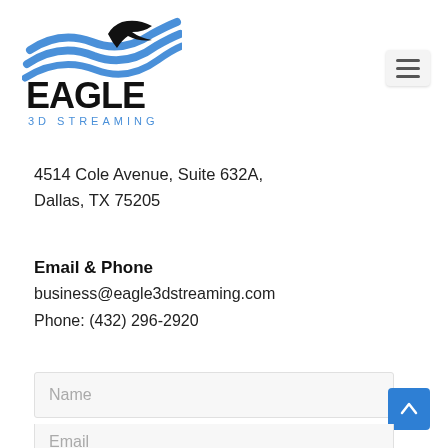[Figure (logo): Eagle 3D Streaming logo: blue wave swoosh with black eagle silhouette, bold black EAGLE text, blue '3D STREAMING' text below]
4514 Cole Avenue, Suite 632A,
Dallas, TX 75205
Email & Phone
business@eagle3dstreaming.com
Phone: (432) 296-2920
Name
Email